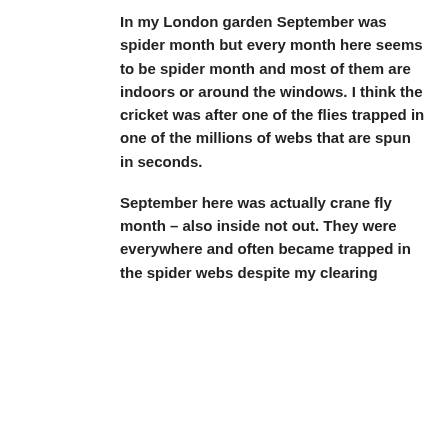In my London garden September was spider month but every month here seems to be spider month and most of them are indoors or around the windows. I think the cricket was after one of the flies trapped in one of the millions of webs that are spun in seconds.
September here was actually crane fly month – also inside not out. They were everywhere and often became trapped in the spider webs despite my clearing